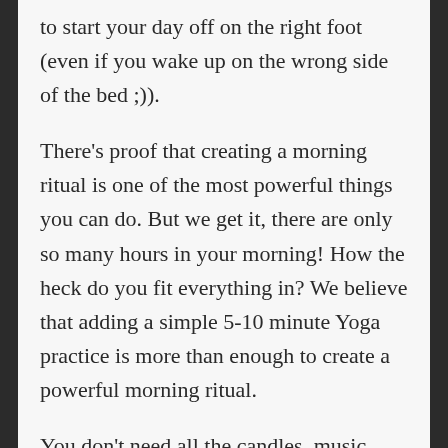to start your day off on the right foot (even if you wake up on the wrong side of the bed ;)).
There's proof that creating a morning ritual is one of the most powerful things you can do. But we get it, there are only so many hours in your morning! How the heck do you fit everything in? We believe that adding a simple 5-10 minute Yoga practice is more than enough to create a powerful morning ritual.
You don't need all the candles, music, books, pens, special tea and crystals… by all means